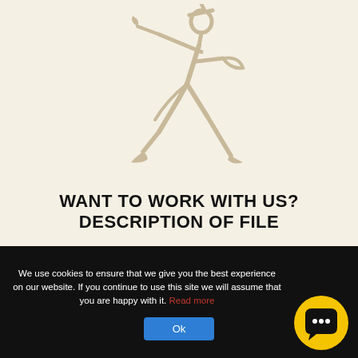[Figure (logo): Stylized line-art illustration of a running messenger/herald figure holding a flag or trumpet, drawn in beige/tan tones on cream background — logo of Johnnie Walker or similar brand.]
WANT TO WORK WITH US?
DESCRIPTION OF FILE
We use cookies to ensure that we give you the best experience on our website. If you continue to use this site we will assume that you are happy with it. Read more
Ok